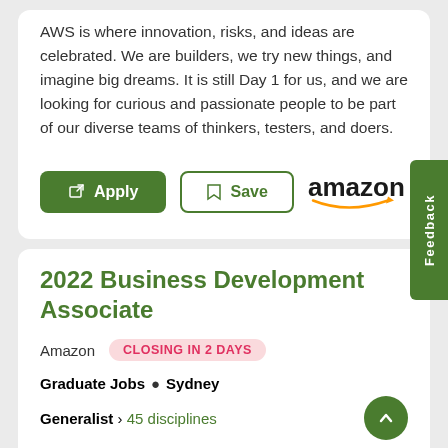AWS is where innovation, risks, and ideas are celebrated. We are builders, we try new things, and imagine big dreams. It is still Day 1 for us, and we are looking for curious and passionate people to be part of our diverse teams of thinkers, testers, and doers.
[Figure (logo): Amazon logo with orange arrow smile]
2022 Business Development Associate
Amazon   CLOSING IN 2 DAYS
Graduate Jobs  •  Sydney
Generalist › 45 disciplines
AWS is where innovation, risks, and ideas are celebrated.